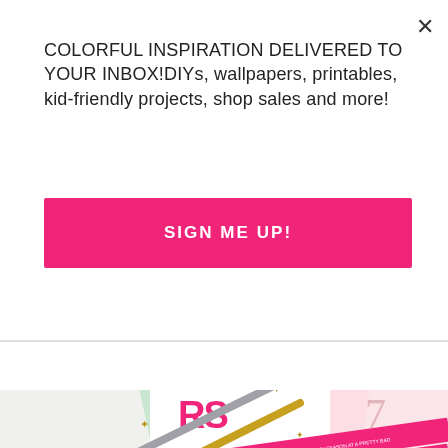COLORFUL INSPIRATION DELIVERED TO YOUR INBOX!DIYs, wallpapers, printables, kid-friendly projects, shop sales and more!
SIGN ME UP!
[Figure (photo): Photo of holiday greeting cards with 'CHEERS' text in pink, scissors, and pink business cards on pastel background]
Custom Printed Business Holiday Cards
November 23, 2015